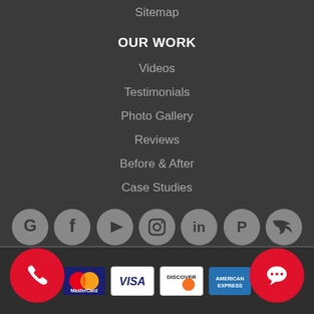Sitemap
OUR WORK
Videos
Testimonials
Photo Gallery
Reviews
Before & After
Case Studies
[Figure (infographic): Row of 7 social media icons: Google, Facebook, YouTube, Instagram, LinkedIn, Pinterest, Twitter — all in grey circle buttons]
[Figure (infographic): Footer bar with MasterCard, Visa, Discover, American Express payment icons, plus red phone button on left and red chat bubble button on right]